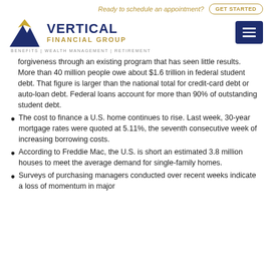Ready to schedule an appointment? GET STARTED
[Figure (logo): Vertical Financial Group logo with mountain/triangle icon in blue and gold. Text: VERTICAL FINANCIAL GROUP. Tagline: BENEFITS | WEALTH MANAGEMENT | RETIREMENT. Hamburger menu button on the right.]
forgiveness through an existing program that has seen little results. More than 40 million people owe about $1.6 trillion in federal student debt. That figure is larger than the national total for credit-card debt or auto-loan debt. Federal loans account for more than 90% of outstanding student debt.
The cost to finance a U.S. home continues to rise. Last week, 30-year mortgage rates were quoted at 5.11%, the seventh consecutive week of increasing borrowing costs.
According to Freddie Mac, the U.S. is short an estimated 3.8 million houses to meet the average demand for single-family homes.
Surveys of purchasing managers conducted over recent weeks indicate a loss of momentum in major